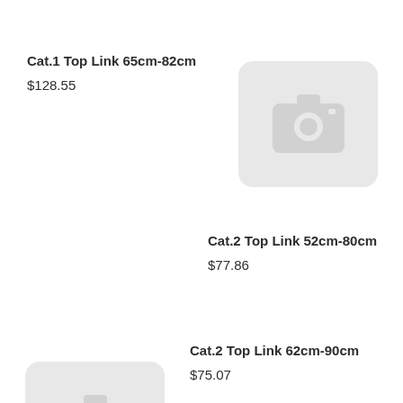Cat.1 Top Link 65cm-82cm
$128.55
[Figure (photo): Placeholder camera icon image for Cat.1 Top Link 65cm-82cm]
Cat.2 Top Link 52cm-80cm
$77.86
Cat.2 Top Link 62cm-90cm
$75.07
[Figure (photo): Placeholder camera icon image for Cat.2 Top Link 62cm-90cm]